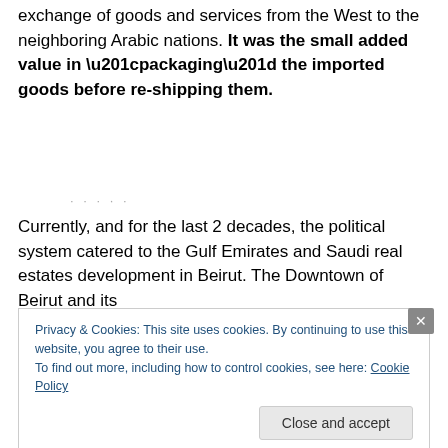exchange of goods and services from the West to the neighboring Arabic nations. It was the small added value in “packaging” the imported goods before re-shipping them.
Currently, and for the last 2 decades, the political system catered to the Gulf Emirates and Saudi real estates development in Beirut. The Downtown of Beirut and its
Privacy & Cookies: This site uses cookies. By continuing to use this website, you agree to their use.
To find out more, including how to control cookies, see here: Cookie Policy
Close and accept